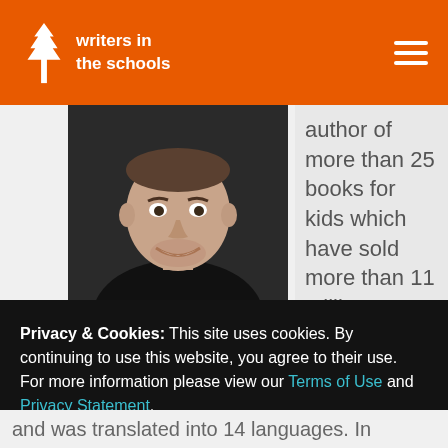writers in the schools
[Figure (photo): Headshot of a smiling middle-aged man in a black shirt against a dark background]
author of more than 25 books for kids which have sold more than 11 million
Privacy & Cookies: This site uses cookies. By continuing to use this website, you agree to their use.
For more information please view our Terms of Use and Privacy Statement.
Save & Accept
and was translated into 14 languages. In